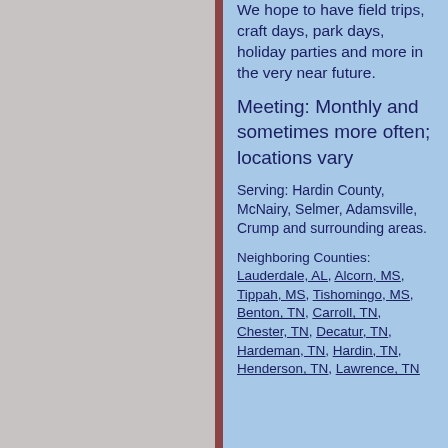We hope to have field trips, craft days, park days, holiday parties and more in the very near future.
Meeting: Monthly and sometimes more often; locations vary
Serving: Hardin County, McNairy, Selmer, Adamsville, Crump and surrounding areas.
Neighboring Counties: Lauderdale, AL, Alcorn, MS, Tippah, MS, Tishomingo, MS, Benton, TN, Carroll, TN, Chester, TN, Decatur, TN, Hardeman, TN, Hardin, TN, Henderson, TN, Lawrence, TN